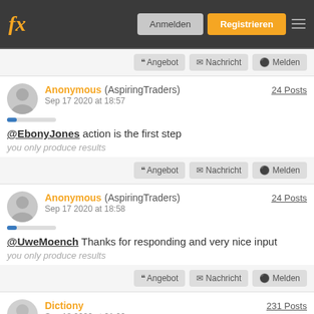fx — Anmelden | Registrieren
❝ Angebot  ✉ Nachricht  ⊘ Melden
Anonymous (AspiringTraders) Sep 17 2020 at 18:57 — 24 Posts
@EbonyJones action is the first step
you only produce results
❝ Angebot  ✉ Nachricht  ⊘ Melden
Anonymous (AspiringTraders) Sep 17 2020 at 18:58 — 24 Posts
@UweMoench Thanks for responding and very nice input
you only produce results
❝ Angebot  ✉ Nachricht  ⊘ Melden
Dictiony — 231 Posts
Sep 18 2020 at 01:06